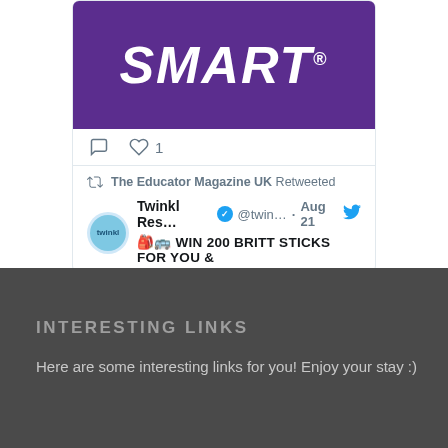[Figure (screenshot): A tweet card showing a SMART brand logo (white text on purple background), tweet action icons (comment, heart with 1 like), and a retweeted tweet by Twinkl Res... (@twin...) dated Aug 21 with text 'WIN 200 BRITT STICKS FOR YOU &'. Header shows 'The Educator Magazine UK Retweeted'.]
INTERESTING LINKS
Here are some interesting links for you! Enjoy your stay :)